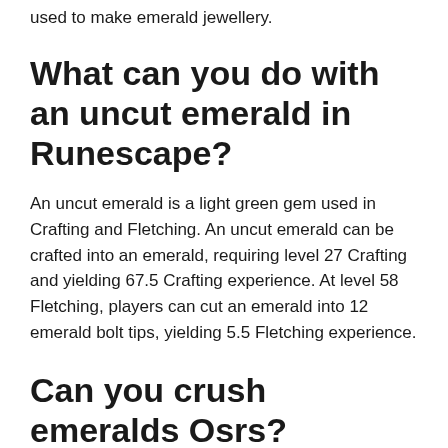used to make emerald jewellery.
What can you do with an uncut emerald in Runescape?
An uncut emerald is a light green gem used in Crafting and Fletching. An uncut emerald can be crafted into an emerald, requiring level 27 Crafting and yielding 67.5 Crafting experience. At level 58 Fletching, players can cut an emerald into 12 emerald bolt tips, yielding 5.5 Fletching experience.
Can you crush emeralds Osrs?